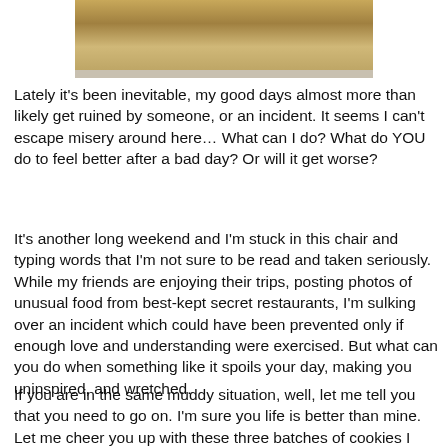[Figure (photo): Partial photo of food (cookies or pastry) on a surface, cropped at top of page]
Lately it's been inevitable, my good days almost more than likely get ruined by someone, or an incident. It seems I can't escape misery around here… What can I do? What do YOU do to feel better after a bad day?  Or will it get worse?
It's another long weekend and I'm stuck in this chair and typing words that I'm not sure to be read and taken seriously.  While my friends are enjoying their trips, posting photos of unusual food from best-kept secret restaurants, I'm sulking over an incident which could have been prevented only if enough love and understanding were exercised.  But what can you do when something like it spoils your day, making you uninspired, and wretched.
If you are in the same muddy situation, well, let me tell you that you need to go on.  I'm sure you life is better than mine.  Let me cheer you up with these three batches of cookies I baked a couple of weeks ago.  Today, I was supposed to bake some cupcakes for a kiddie birthday party but sometimes life will challenge you to the core.  My oven broke